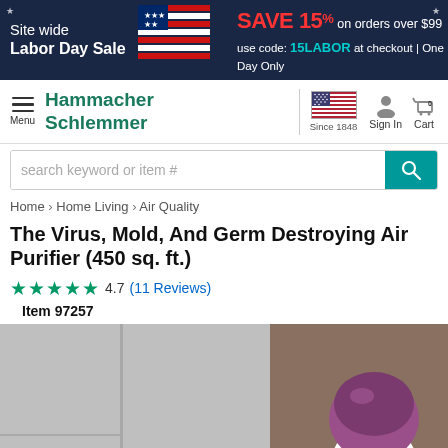[Figure (screenshot): Hammacher Schlemmer e-commerce product page screenshot showing a Labor Day Sale banner, navigation bar with logo, search bar, breadcrumb, product title, rating, and product image]
Site wide Labor Day Sale | SAVE 15% on orders over $99 use code: 15LABOR at checkout | One Day Only
Hammacher Schlemmer — Since 1848 — Menu | Sign In | Cart
search keyword or item #
Home > Home Living > Air Quality
The Virus, Mold, And Germ Destroying Air Purifier (450 sq. ft.)
★★★★★ 4.7 (11 Reviews)
Item 97257
[Figure (photo): Product photo of the Virus Mold And Germ Destroying Air Purifier – white unit with purple dome top, shown against a gray-brown background]